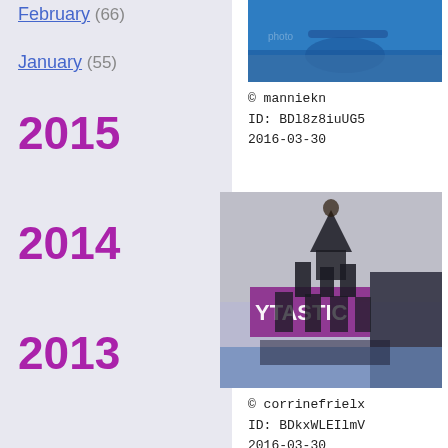February (66)
January (55)
2015
2014
2013
[Figure (photo): Photo of gymnast or acrobat on a blue mat surface, top portion of the image]
© manniekn
ID: BDl8z8iuUG5
2016-03-30
[Figure (photo): Photo of a cheerleading pyramid stunt performed by a team in black outfits at a gymnastics event with a purple banner reading 'YTASTIC' in the background]
© corrinefrielx
ID: BDkxWLEIlmV
2016-03-30